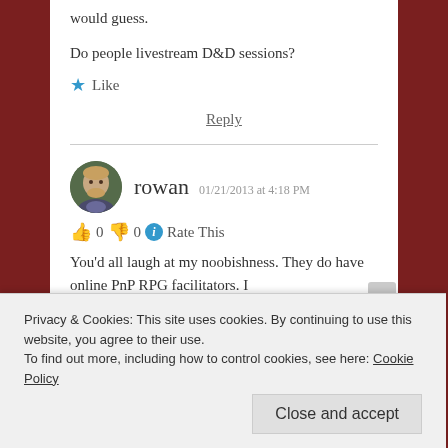would guess.
Do people livestream D&D sessions?
★ Like
Reply
rowan 01/21/2013 at 4:18 PM
👍 0 👎 0 ℹ Rate This
You'd all laugh at my noobishness. They do have online PnP RPG facilitators. I
Privacy & Cookies: This site uses cookies. By continuing to use this website, you agree to their use.
To find out more, including how to control cookies, see here: Cookie Policy
Close and accept